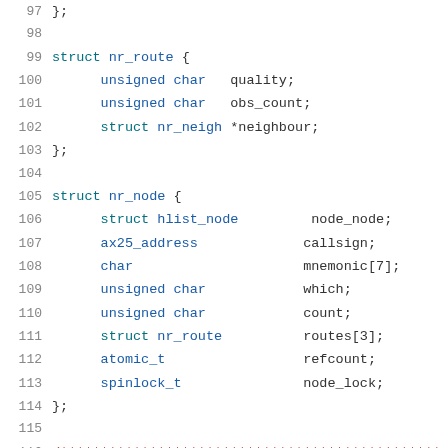97    };
98
99    struct nr_route {
100        unsigned char    quality;
101        unsigned char    obs_count;
102        struct nr_neigh *neighbour;
103    };
104
105    struct nr_node {
106        struct hlist_node        node_node;
107        ax25_address             callsign;
108        char                     mnemonic[7];
109        unsigned char            which;
110        unsigned char            count;
111        struct nr_route          routes[3];
112        atomic_t                 refcount;
113        spinlock_t               node_lock;
114    };
115
116    /***********************************************
117     *        nr_node & nr_neigh lists, refcounting ar